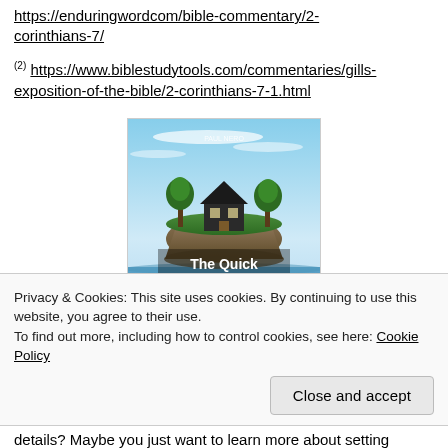https://enduringwordcom/bible-commentary/2-corinthians-7/
(2) https://www.biblestudytools.com/commentaries/gills-exposition-of-the-bible/2-corinthians-7-1.html
[Figure (photo): Book cover showing a floating island with a house on it over water. Text reads 'The Quick Essentials of Setting and' with author name at top.]
Privacy & Cookies: This site uses cookies. By continuing to use this website, you agree to their use.
To find out more, including how to control cookies, see here: Cookie Policy
Close and accept
details? Maybe you just want to learn more about setting